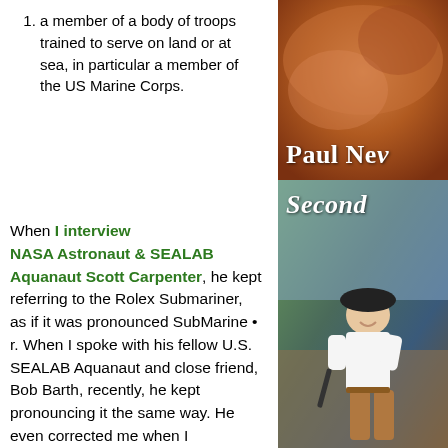1. a member of a body of troops trained to serve on land or at sea, in particular a member of the US Marine Corps.
[Figure (photo): Close-up photo with warm brown/orange tones, with text 'Paul Nev' partially visible in white bold serif font at the bottom]
[Figure (photo): Photo of a smiling woman wearing a black cap and white shirt, outdoors in a natural setting. The word 'Second' appears in white italic bold font at the top.]
When I interview NASA Astronaut & SEALAB Aquanaut Scott Carpenter, he kept referring to the Rolex Submariner, as if it was pronounced SubMarine • r. When I spoke with his fellow U.S. SEALAB Aquanaut and close friend, Bob Barth, recently, he kept pronouncing it the same way. He even corrected me when I pronounced it Submariner. I asked Bob why he and Scott kept calling it a SubMarine-r. Bob responded by saying, "A